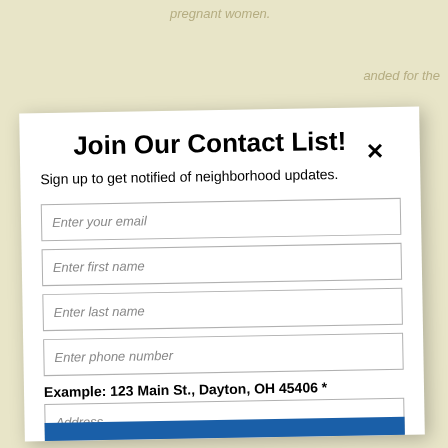pregnant women.
anded for the
Join Our Contact List!
Sign up to get notified of neighborhood updates.
Enter your email
Enter first name
Enter last name
Enter phone number
Example: 123 Main St., Dayton, OH 45406 *
Address